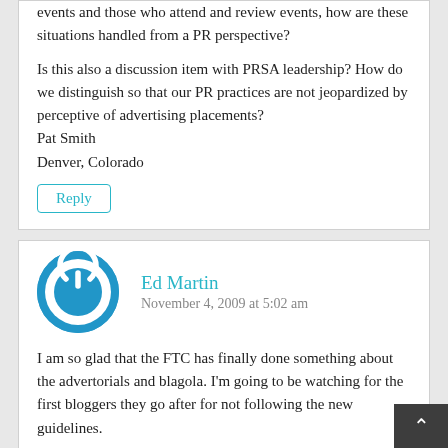events and those who attend and review events, how are these situations handled from a PR perspective?
Is this also a discussion item with PRSA leadership? How do we distinguish so that our PR practices are not jeopardized by perceptive of advertising placements?
Pat Smith
Denver, Colorado
Reply
[Figure (illustration): Blue circular avatar icon with power button symbol in white]
Ed Martin
November 4, 2009 at 5:02 am
I am so glad that the FTC has finally done something about the advertorials and blagola. I'm going to be watching for the first bloggers they go after for not following the new guidelines.
It will be interesting to watch how the blogger-PR and promo interactions change after this. I know there ha